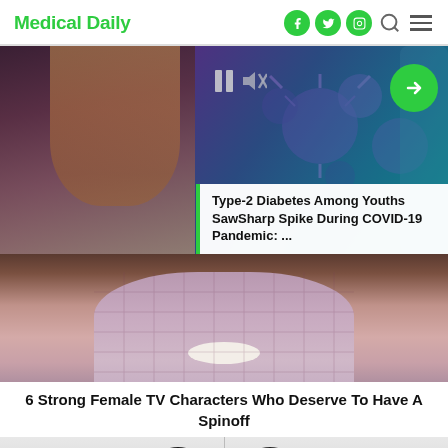Medical Daily
[Figure (photo): Hero image showing a split view: left side shows a person with blonde hair, right side shows a microscopic/scientific image with blue/purple coronavirus particles. Video playback controls (pause and mute icons) visible in center. Green arrow navigation button on right.]
Type-2 Diabetes Among Youths SawSharp Spike During COVID-19 Pandemic: ...
[Figure (photo): Photo of a woman with chin-length blonde hair wearing a pink/mauve quilted turtleneck top, photographed against a blurred indoor background.]
6 Strong Female TV Characters Who Deserve To Have A Spinoff
[Figure (photo): Partial photo showing two silhouetted figures with dark hair against a light gray background, split down the middle.]